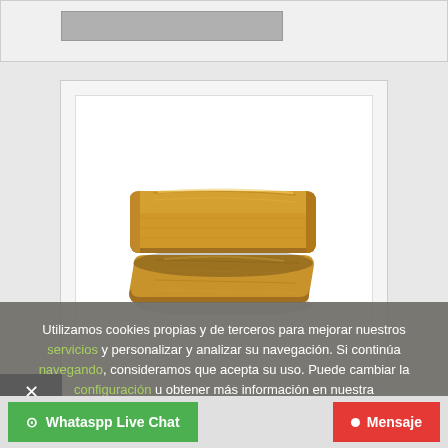[Figure (photo): Two stacked wooden parquet/flooring pieces with rounded edges, light natural wood grain, viewed from above at an angle]
Utilizamos cookies propias y de terceros para mejorar nuestros servicios y personalizar y analizar su navegación. Si continúa navegando, consideramos que acepta su uso. Puede cambiar la configuración u obtener más información en nuestra Política de Cookies.